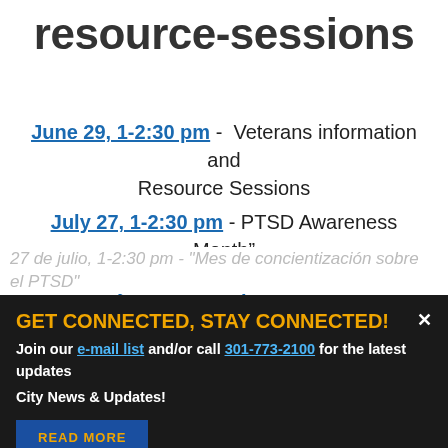resource-sessions
June 29, 1-2:30 pm - Veterans information and Resource Sessions
July 27, 1-2:30 pm - PTSD Awareness Month”
6 de junio, 1-2:30 pm - Sesiones informativas y recursos para veteranos
27 de julio, 1-2:30 pm – “Mes de concientización sobre el PTSD”
GET CONNECTED, STAY CONNECTED!
Join our e-mail list and/or call 301-773-2100 for the latest updates City News & Updates!
READ MORE
The Purple Line Workforce